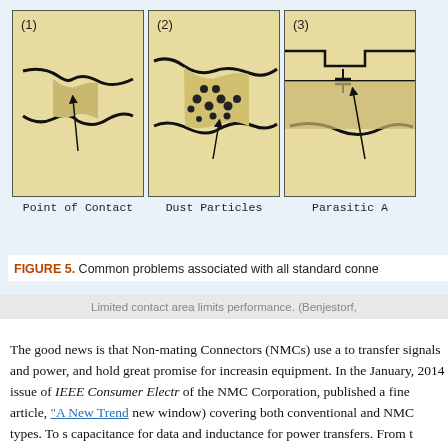[Figure (illustration): Three labeled diagrams showing common connector problems: (1) Point of Contact showing crack/fracture, (2) Dust Particles shown as dots in contact area, (3) Parasitic A... showing circuit symbol in contact area. Each diagram is a cross-section sketch on tan/beige background with arrows pointing to features.]
FIGURE 5. Common problems associated with all standard conne...
Limited contact area limits performance. (Benjestorf,...
The good news is that Non-mating Connectors (NMCs) use a to transfer signals and power, and hold great promise for increasing equipment. In the January, 2014 issue of IEEE Consumer Electr... of the NMC Corporation, published a fine article, "A New Trend..." new window) covering both conventional and NMC types. To s... capacitance for data and inductance for power transfers. From t... compares NMC vs. conventional connectors for the USB 3.0 sta...